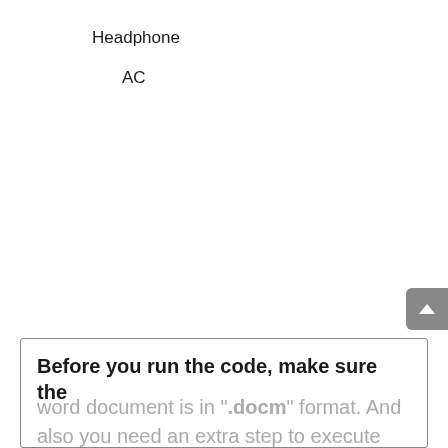Headphone
AC
Before you run the code, make sure the word document is in ".docm" format. And also you need an extra step to execute